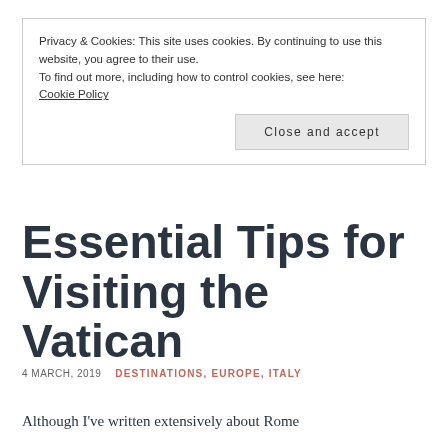Privacy & Cookies: This site uses cookies. By continuing to use this website, you agree to their use.
To find out more, including how to control cookies, see here: Cookie Policy
[Close and accept]
Essential Tips for Visiting the Vatican
4 MARCH, 2019   DESTINATIONS, EUROPE, ITALY
Although I've written extensively about Rome